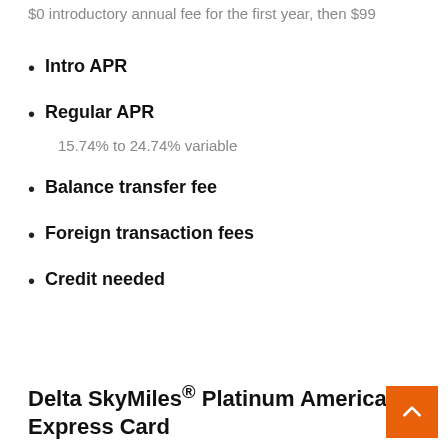$0 introductory annual fee for the first year, then $99
Intro APR
Regular APR
15.74% to 24.74% variable
Balance transfer fee
Foreign transaction fees
Credit needed
Delta SkyMiles® Platinum American Express Card